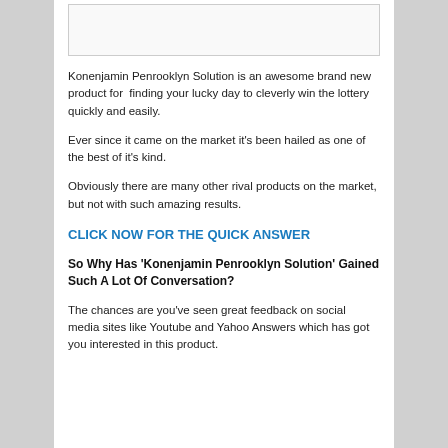[Figure (other): Empty image placeholder box with light border]
Konenjamin Penrooklyn Solution is an awesome brand new product for  finding your lucky day to cleverly win the lottery quickly and easily.
Ever since it came on the market it's been hailed as one of the best of it's kind.
Obviously there are many other rival products on the market, but not with such amazing results.
CLICK NOW FOR THE QUICK ANSWER
So Why Has 'Konenjamin Penrooklyn Solution' Gained Such A Lot Of Conversation?
The chances are you've seen great feedback on social media sites like Youtube and Yahoo Answers which has got you interested in this product.